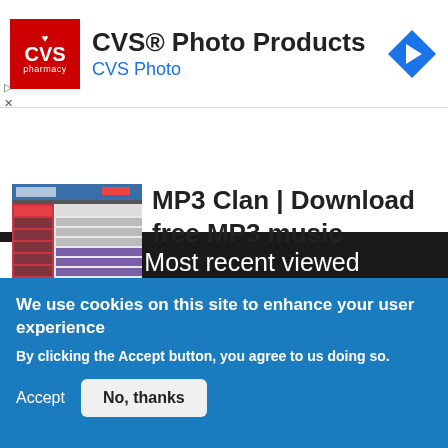[Figure (screenshot): CVS Photo Products advertisement banner with CVS Pharmacy logo (red square with heart and CVS text), ad title 'CVS® Photo Products', subtitle 'CVS Photo', and a blue diamond navigation arrow icon on the right]
Most recent viewed
[Figure (screenshot): Thumbnail screenshot of MP3 Clan website showing the site interface with purple and red elements]
MP3 Clan | Download free MP3 music
Download free MP3 music with Mp3 Clan
TEACHING & PEDAGOGY
We use cookies on this site to enhance your user experience
By clicking the Accept button, you agree to us doing so.
Accept
No, thanks